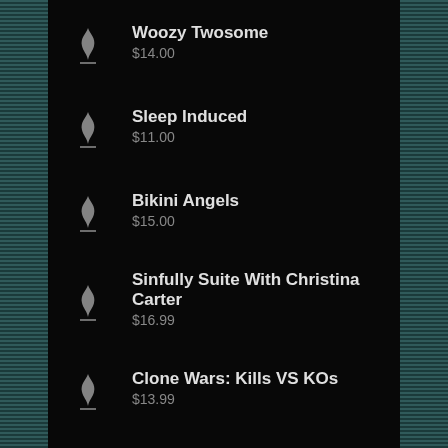Woozy Twosome
$14.00
Sleep Induced
$11.00
Bikini Angels
$15.00
Sinfully Suite With Christina Carter
$16.99
Clone Wars: Kills VS KOs
$13.99
Stephy C.'S Zzzs
$14.00